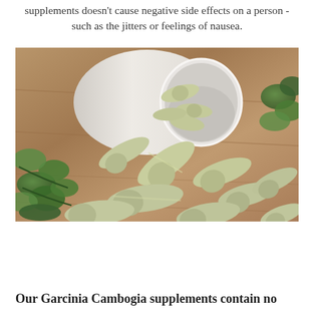supplements doesn't cause negative side effects on a person - such as the jitters or feelings of nausea.
[Figure (photo): A white pill bottle tipped on its side with many olive-green capsules spilling out onto a wooden surface, surrounded by green leaves on both sides.]
Our Garcinia Cambogia supplements contain no